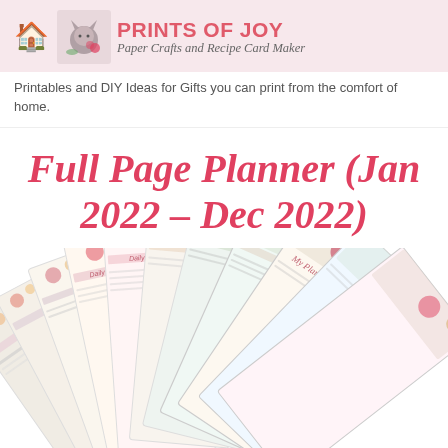PRINTS OF JOY — Paper Crafts and Recipe Card Maker
Printables and DIY Ideas for Gifts you can print from the comfort of home.
Full Page Planner (Jan 2022 – Dec 2022)
[Figure (photo): A fan of floral planner pages spread out, showing colorful printed daily planner sheets with flower designs in red, yellow, and blue on white backgrounds. Text visible includes 'Daily' and 'My Planner'.]